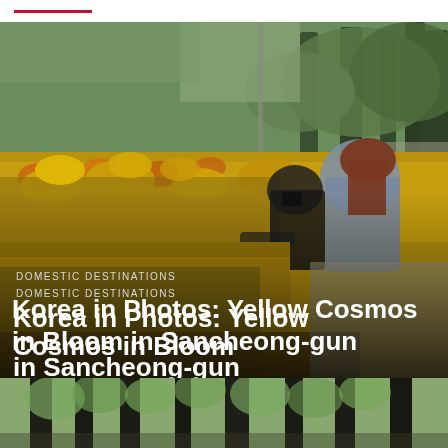[Figure (photo): Photo of a woman with reddish-brown hair crouching among a field of bright yellow and orange cosmos flowers, with green trees in the background. Outdoor scene in Sancheong-gun, Korea.]
DOMESTIC DESTINATIONS
Korea in Photos: Yellow Cosmos in Bloom in Sancheong-gun
[Figure (photo): Bottom portion of a forest scene showing tall dark tree trunks and green foliage overhead.]